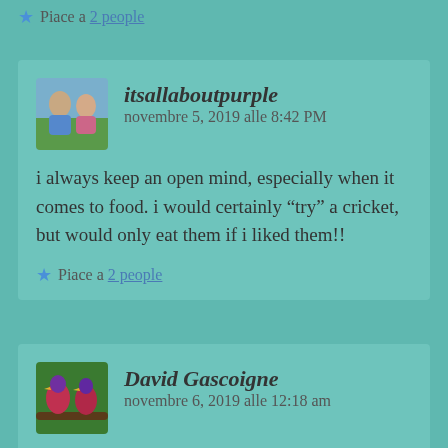Piace a 2 people
itsallaboutpurple   novembre 5, 2019 alle 8:42 PM
i always keep an open mind, especially when it comes to food. i would certainly “try” a cricket, but would only eat them if i liked them!!
Piace a 2 people
David Gascoigne   novembre 6, 2019 alle 12:18 am
I have never tried them, but there are certainly